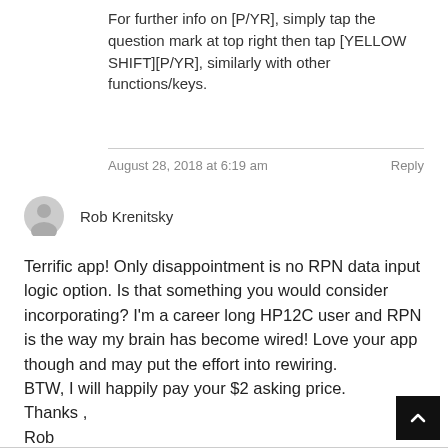For further info on [P/YR], simply tap the question mark at top right then tap [YELLOW SHIFT][P/YR], similarly with other functions/keys.
August 28, 2018 at 6:19 am
Reply
Rob Krenitsky
Terrific app! Only disappointment is no RPN data input logic option. Is that something you would consider incorporating? I'm a career long HP12C user and RPN is the way my brain has become wired! Love your app though and may put the effort into rewiring.
BTW, I will happily pay your $2 asking price.
Thanks ,
Rob